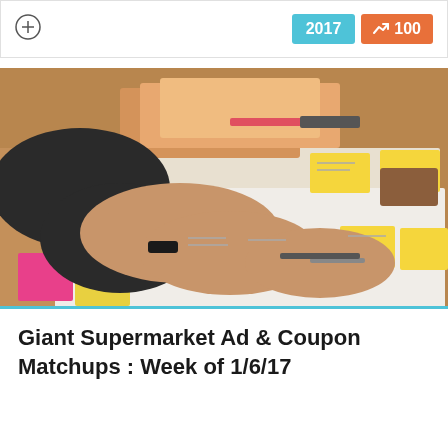2017  ↗ 100
[Figure (photo): Person's hands working with yellow sticky notes and planning materials spread on a white surface, with orange folders and markers visible. The person is wearing a black wristband.]
Giant Supermarket Ad & Coupon Matchups : Week of 1/6/17